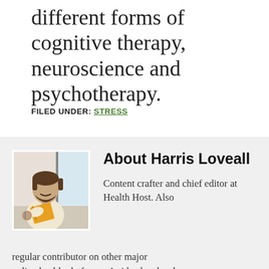different forms of cognitive therapy, neuroscience and psychotherapy.
FILED UNDER: STRESS
About Harris Loveall
Content crafter and chief editor at Health Host. Also regular contributor on other major online health platforms. A side also deeply...